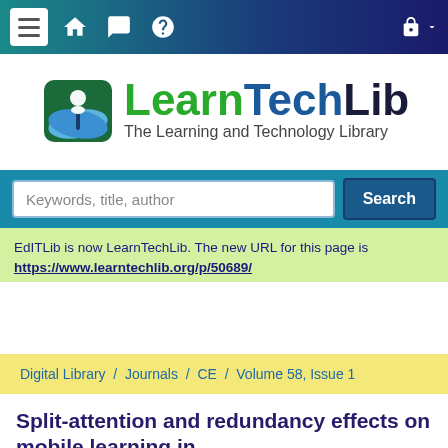[Figure (screenshot): Website navigation bar with hamburger menu, home, chat, help icons and lock icon on dark teal-to-navy gradient background]
[Figure (logo): LearnTechLib logo — open book icon with 'LearnTechLib' text and tagline 'The Learning and Technology Library']
[Figure (screenshot): Search bar with placeholder 'Keywords, title, author' and blue Search button on teal background]
EdITLib is now LearnTechLib. The new URL for this page is https://www.learntechlib.org/p/50689/
Digital Library  /  Journals  /  CE  /  Volume 58, Issue 1
Split-attention and redundancy effects on mobile learning in